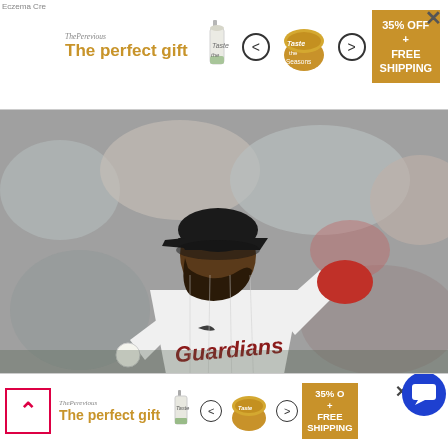[Figure (other): Advertisement banner: 'The perfect gift' with candle jar images, navigation arrows, and '35% OFF + FREE SHIPPING' badge on gold background. Close button X on right.]
[Figure (photo): Cleveland Guardians pitcher in white uniform with red glove in mid-pitch motion, crowd blurred in background.]
Cleveland Guardians at Boston Red Sox - 7/28/22 MLB Picks and Prediction
Boston Red Sox vs. Cleveland Guardians 7/28/22: MLB Baseball free preview, analysis, prediction, odds and
[Figure (other): Bottom advertisement banner: same 'The perfect gift' ad with candle images, arrows, and '35% OFF + FREE SHIPPING' badge. Also shows back/up arrow button on left and chat bubble icon and X close button.]